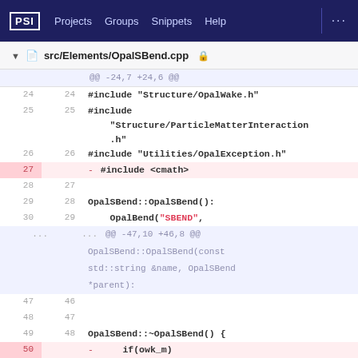PSI  Projects  Groups  Snippets  Help
src/Elements/OpalSBend.cpp
@@ -24,7 +24,6 @@
24  24  #include "Structure/OpalWake.h"
25  25  #include "Structure/ParticleMatterInteraction.h"
26  26  #include "Utilities/OpalException.h"
27     - #include <cmath>
28  27
29  28  OpalSBend::OpalSBend():
30  29      OpalBend("SBEND",
...  ...  @@ -47,10 +46,8 @@
          OpalSBend::OpalSBend(const std::string &name, OpalSBend *parent):
47  46
48  47
49  48  OpalSBend::~OpalSBend() {
50     - if(owk_m)
51     delete owk_m;